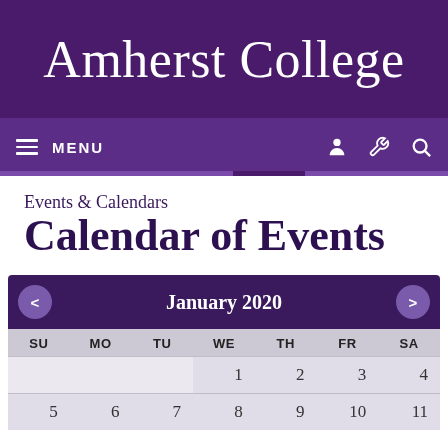Amherst College
MENU
Events & Calendars
Calendar of Events
| SU | MO | TU | WE | TH | FR | SA |
| --- | --- | --- | --- | --- | --- | --- |
|  |  |  | 1 | 2 | 3 | 4 |
| 5 | 6 | 7 | 8 | 9 | 10 | 11 |